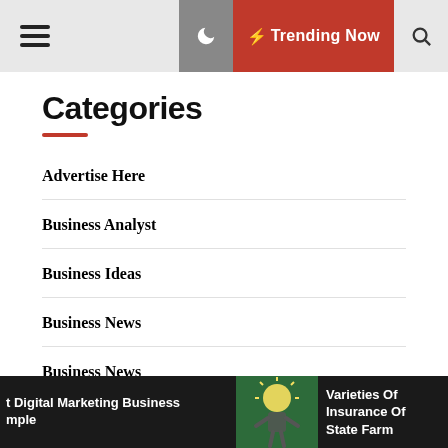☰ Trending Now 🔍
Categories
Advertise Here
Business Analyst
Business Ideas
Business News
Business News
Education
Digital Marketing Business mple | Varieties Of Insurance Of State Farm